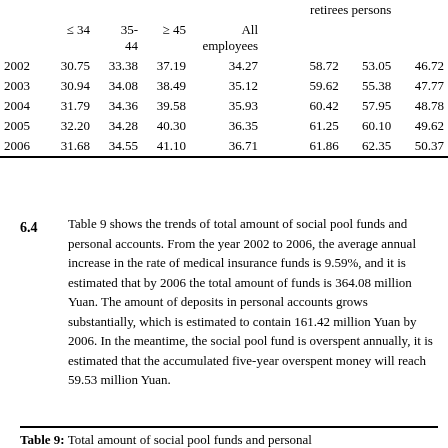|  | ≤ 34 | 35-44 | ≥ 45 | All employees |  | retirees | persons |
| --- | --- | --- | --- | --- | --- | --- | --- |
| 2002 | 30.75 | 33.38 | 37.19 | 34.27 |  | 58.72 | 53.05 | 46.72 |
| 2003 | 30.94 | 34.08 | 38.49 | 35.12 |  | 59.62 | 55.38 | 47.77 |
| 2004 | 31.79 | 34.36 | 39.58 | 35.93 |  | 60.42 | 57.95 | 48.78 |
| 2005 | 32.20 | 34.28 | 40.30 | 36.35 |  | 61.25 | 60.10 | 49.62 |
| 2006 | 31.68 | 34.55 | 41.10 | 36.71 |  | 61.86 | 62.35 | 50.37 |
6.4
Table 9 shows the trends of total amount of social pool funds and personal accounts. From the year 2002 to 2006, the average annual increase in the rate of medical insurance funds is 9.59%, and it is estimated that by 2006 the total amount of funds is 364.08 million Yuan. The amount of deposits in personal accounts grows substantially, which is estimated to contain 161.42 million Yuan by 2006. In the meantime, the social pool fund is overspent annually, it is estimated that the accumulated five-year overspent money will reach 59.53 million Yuan.
Table 9: Total amount of social pool funds and personal